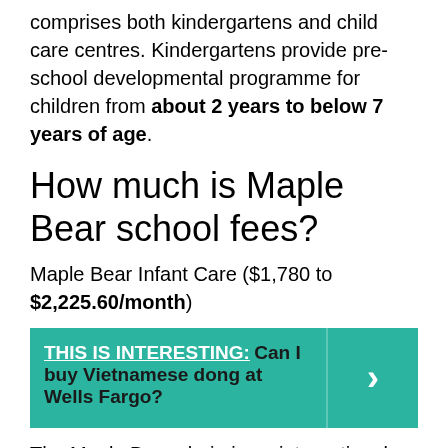comprises both kindergartens and child care centres. Kindergartens provide pre-school developmental programme for children from about 2 years to below 7 years of age.
How much is Maple Bear school fees?
Maple Bear Infant Care ($1,780 to $2,225.60/month)
[Figure (infographic): Teal callout box with text 'THIS IS INTERESTING: Can I buy Vietnamese dong at Wells Fargo?' and a right-arrow button on the right side.]
The Maple Bear chain is an international one found in 12 countries. They offer infant care (7 centres) as well as pre-school education